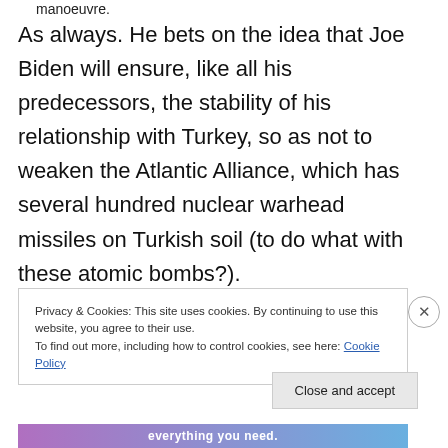manoeuvre.
As always. He bets on the idea that Joe Biden will ensure, like all his predecessors, the stability of his relationship with Turkey, so as not to weaken the Atlantic Alliance, which has several hundred nuclear warhead missiles on Turkish soil (to do what with these atomic bombs?).
Privacy & Cookies: This site uses cookies. By continuing to use this website, you agree to their use.
To find out more, including how to control cookies, see here: Cookie Policy
Close and accept
everything you need.